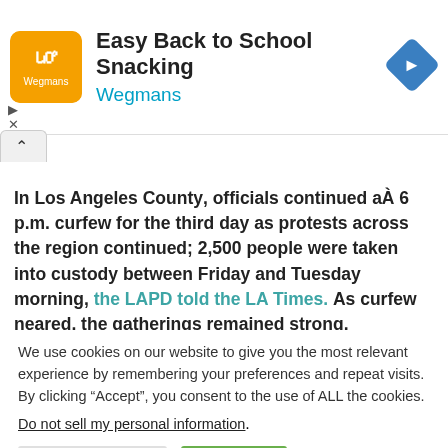[Figure (screenshot): Advertisement banner: Wegmans logo (orange square with white text) on left, 'Easy Back to School Snacking' in bold black text, 'Wegmans' in teal/cyan text, blue navigation diamond icon on right]
In Los Angeles County, officials continued a  6 p.m. curfew for the third day as protests across the region continued; 2,500 people were taken into custody between Friday and Tuesday morning, the LAPD told the LA Times. As curfew neared, the gatherings remained strong.
We use cookies on our website to give you the most relevant experience by remembering your preferences and repeat visits. By clicking “Accept”, you consent to the use of ALL the cookies.
Do not sell my personal information.
Cookie Settings  Accept